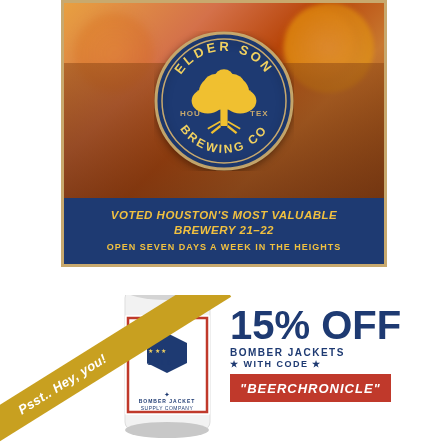[Figure (logo): Elder Son Brewing Co advertisement with logo on blue background, photo of beer glasses, text saying VOTED HOUSTON'S MOST VALUABLE BREWERY 21-22 and OPEN SEVEN DAYS A WEEK IN THE HEIGHTS]
[Figure (photo): Bomber Jacket Supply Company can koozie product photo with gold diagonal banner reading Psst.. Hey, you!, advertisement for 15% OFF BOMBER JACKETS WITH CODE BEERCHRONICLE]